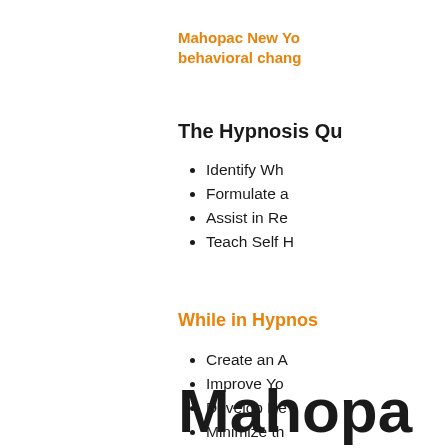Mahopac New Yo behavioral chang
The Hypnosis Qu
Identify Wh
Formulate a
Assist in Re
Teach Self H
While in Hypnos
Create an A
Improve Yo
Develop Ne
Minimize th
Mahopa